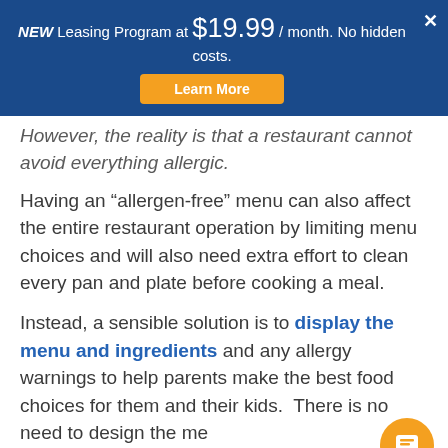NEW Leasing Program at $19.99 / month. No hidden costs. Learn More
However, the reality is that a restaurant cannot avoid everything allergic.
Having an “allergen-free” menu can also affect the entire restaurant operation by limiting menu choices and will also need extra effort to clean every pan and plate before cooking a meal.
Instead, a sensible solution is to display the menu and ingredients and any allergy warnings to help parents make the best food choices for them and their kids.  There is no need to design the menu completely from scratch. Our digital signage provides a variety of templates for you to create a